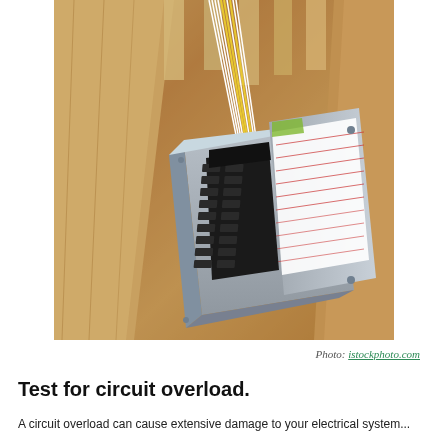[Figure (photo): Photograph of an electrical panel/circuit breaker box with the door open, showing circuit breakers and a wiring schedule label, mounted in an unfinished wood-framed wall with wires running through it. Photo credit: istockphoto.com]
Photo: istockphoto.com
Test for circuit overload.
A circuit overload can cause extensive damage...